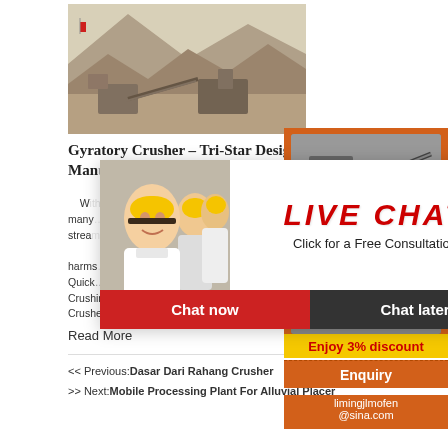[Figure (photo): Aerial/landscape photo of an open-pit mining crushing operation with heavy machinery on a hillside]
Gyratory Crusher – Tri-Star Design Manufacturing Inc.
With many stream harmless Quickly Crushing, Equipment & Tooling, Gyratory Crusher, Maintenance Tools, Mobile Equipment
Read More
[Figure (photo): Live Chat popup overlay with worker in helmet photo, LIVE CHAT text in red, Click for a Free Consultation, Chat now and Chat later buttons]
[Figure (photo): Right sidebar with orange background showing two mining/crushing machine photos, Enjoy 3% discount yellow bar, Click to Chat red/gold bar, Enquiry button, and email limingjlmofen@sina.com]
<< Previous:Dasar Dari Rahang Crusher
>> Next:Mobile Processing Plant For Alluvial Placer